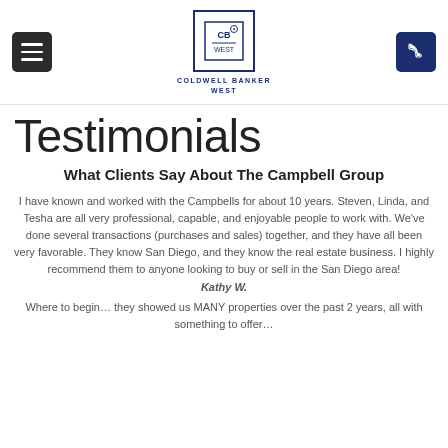Coldwell Banker West [logo with menu and phone buttons]
Testimonials
What Clients Say About The Campbell Group
I have known and worked with the Campbells for about 10 years. Steven, Linda, and Tesha are all very professional, capable, and enjoyable people to work with. We've done several transactions (purchases and sales) together, and they have all been very favorable. They know San Diego, and they know the real estate business. I highly recommend them to anyone looking to buy or sell in the San Diego area! Kathy W.
Where to begin… they showed us MANY properties over the past 2 years, all with something to offer…